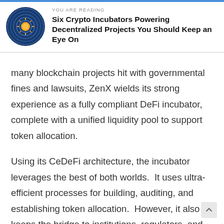YOU ARE READING
Six Crypto Incubators Powering Decentralized Projects You Should Keep an Eye On
many blockchain projects hit with governmental fines and lawsuits, ZenX wields its strong experience as a fully compliant DeFi incubator, complete with a unified liquidity pool to support token allocation.
Using its CeDeFi architecture, the incubator leverages the best of both worlds.  It uses ultra-efficient processes for building, auditing, and establishing token allocation.  However, it also keeps the bridge to institutions, regulators, and